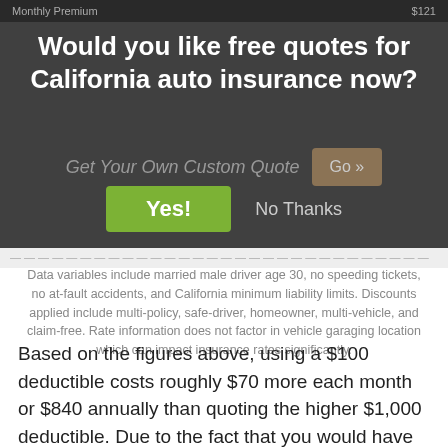Monthly Premium  $121
Would you like free quotes for California auto insurance now?
Get Your Own Custom Quote  Go »
Yes!  No Thanks
Data variables include married male driver age 30, no speeding tickets, no at-fault accidents, and California minimum liability limits. Discounts applied include multi-policy, safe-driver, homeowner, multi-vehicle, and claim-free. Rate information does not factor in vehicle garaging location which can impact insurance rates significantly.
Based on the figures above, using a $100 deductible costs roughly $70 more each month or $840 annually than quoting the higher $1,000 deductible. Due to the fact that you would have to pay $900 more if you turn in a claim with a $1,000 deductible as compared to a $100 deductible, if you normally average at least 13 months between claims, you would most likely save